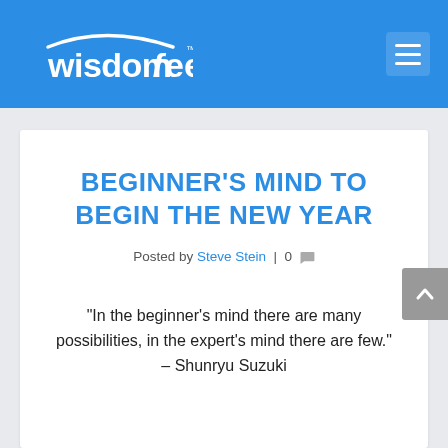wisdomfeed
BEGINNER'S MIND TO BEGIN THE NEW YEAR
Posted by Steve Stein | 0
“In the beginner’s mind there are many possibilities, in the expert’s mind there are few.” – Shunryu Suzuki